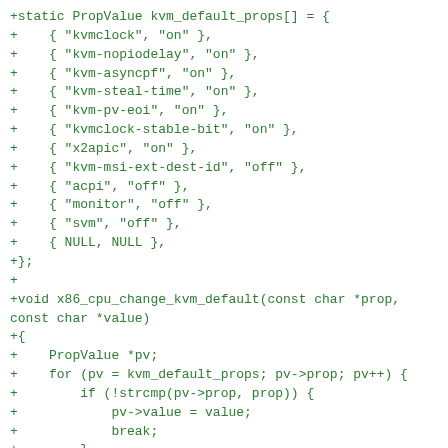+static PropValue kvm_default_props[] = {
+    { "kvmclock", "on" },
+    { "kvm-nopiodelay", "on" },
+    { "kvm-asyncpf", "on" },
+    { "kvm-steal-time", "on" },
+    { "kvm-pv-eoi", "on" },
+    { "kvmclock-stable-bit", "on" },
+    { "x2apic", "on" },
+    { "kvm-msi-ext-dest-id", "off" },
+    { "acpi", "off" },
+    { "monitor", "off" },
+    { "svm", "off" },
+    { NULL, NULL },
+};
+
+void x86_cpu_change_kvm_default(const char *prop,
const char *value)
+{
+    PropValue *pv;
+    for (pv = kvm_default_props; pv->prop; pv++) {
+        if (!strcmp(pv->prop, prop)) {
+            pv->value = value;
+            break;
+        }
+    }
+
+    /*
+     * It is valid to call this function only for
properties that
+     * are already present in the kvm_default_props